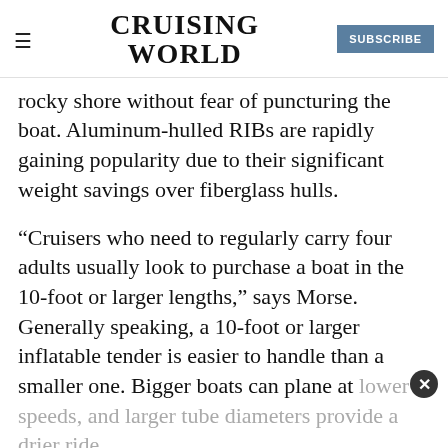CRUISING WORLD | SUBSCRIBE
rocky shore without fear of puncturing the boat. Aluminum-hulled RIBs are rapidly gaining popularity due to their significant weight savings over fiberglass hulls.
“Cruisers who need to regularly carry four adults usually look to purchase a boat in the 10-foot or larger lengths,” says Morse. Generally speaking, a 10-foot or larger inflatable tender is easier to handle than a smaller one. Bigger boats can plane at lower speeds, and larger tube diameters provide a drier ride.